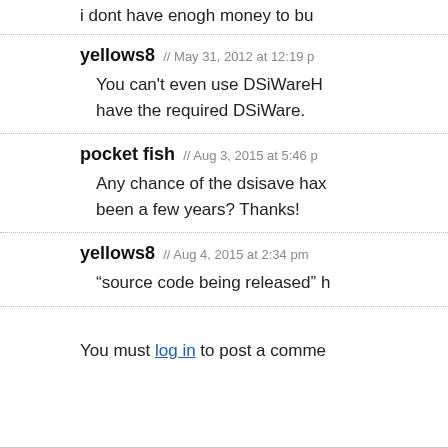i dont have enogh money to bu
yellows8 // May 31, 2012 at 12:19 p
You can't even use DSIWareH have the required DSIiWare.
pocket fish // Aug 3, 2015 at 5:46 p
Any chance of the dsisave hax been a few years? Thanks!
yellows8 // Aug 4, 2015 at 2:34 pm
“source code being released” h
You must log in to post a comme